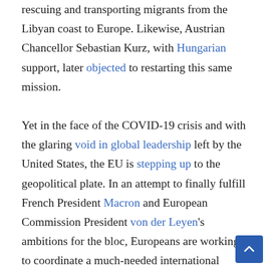rescuing and transporting migrants from the Libyan coast to Europe. Likewise, Austrian Chancellor Sebastian Kurz, with Hungarian support, later objected to restarting this same mission.

Yet in the face of the COVID-19 crisis and with the glaring void in global leadership left by the United States, the EU is stepping up to the geopolitical plate. In an attempt to finally fulfill French President Macron and European Commission President von der Leyen's ambitions for the bloc, Europeans are working to coordinate a much-needed international response to the health crisis. France is spearheading G7 meetings and calling for debt suspension to allow African countries